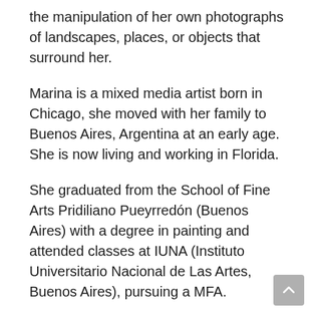the manipulation of her own photographs of landscapes, places, or objects that surround her.
Marina is a mixed media artist born in Chicago, she moved with her family to Buenos Aires, Argentina at an early age. She is now living and working in Florida.
She graduated from the School of Fine Arts Pridiliano Pueyrredón (Buenos Aires) with a degree in painting and attended classes at IUNA (Instituto Universitario Nacional de Las Artes, Buenos Aires), pursuing a MFA.
Marina has participated in group and solo exhibitions in Argentina, Uruguay and United States. Her art is included in national and international, private and corporate art collections.